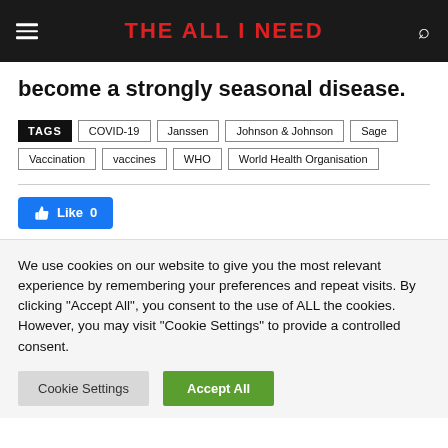THE ALL I NEED
become a strongly seasonal disease.
TAGS: COVID-19, Janssen, Johnson & Johnson, Sage, Vaccination, vaccines, WHO, World Health Organisation
[Figure (other): Facebook Like button showing Like 0]
We use cookies on our website to give you the most relevant experience by remembering your preferences and repeat visits. By clicking "Accept All", you consent to the use of ALL the cookies. However, you may visit "Cookie Settings" to provide a controlled consent.